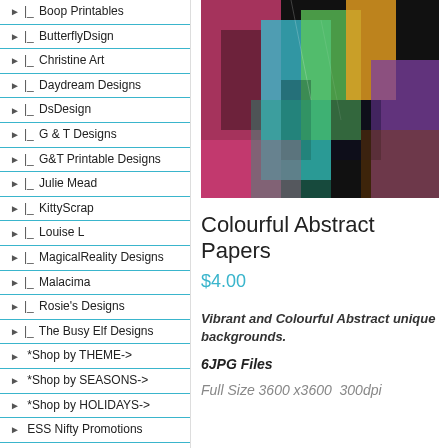|_ Boop Printables
|_ ButterflyDsign
|_ Christine Art
|_ Daydream Designs
|_ DsDesign
|_ G & T Designs
|_ G&T Printable Designs
|_ Julie Mead
|_ KittyScrap
|_ Louise L
|_ MagicalReality Designs
|_ Malacima
|_ Rosie's Designs
|_ The Busy Elf Designs
*Shop by THEME->
*Shop by SEASONS->
*Shop by HOLIDAYS->
ESS Nifty Promotions
Bargain Deal$
*Artistic Use->
[Figure (photo): Colourful abstract digital paper product image showing vibrant mixed colors including pink, teal, green, orange, and purple patterns]
Colourful Abstract Papers
$4.00
Vibrant and Colourful Abstract unique backgrounds.
6JPG Files
Full Size 3600 x3600  300dpi